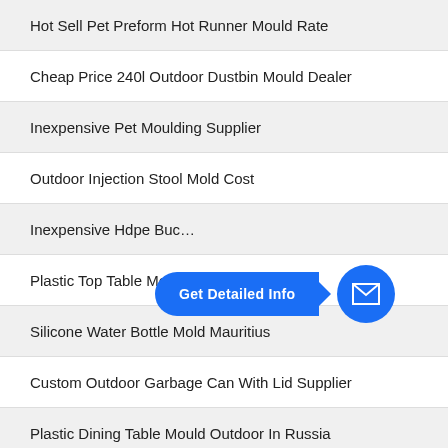Hot Sell Pet Preform Hot Runner Mould Rate
Cheap Price 240l Outdoor Dustbin Mould Dealer
Inexpensive Pet Moulding Supplier
Outdoor Injection Stool Mold Cost
Inexpensive Hdpe Buc…
Plastic Top Table Mould In Albania
Silicone Water Bottle Mold Mauritius
Custom Outdoor Garbage Can With Lid Supplier
Plastic Dining Table Mould Outdoor In Russia